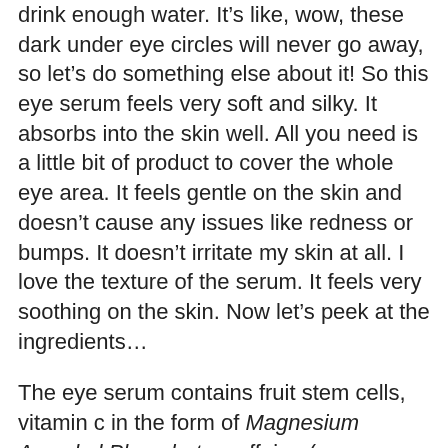drink enough water. It's like, wow, these dark under eye circles will never go away, so let's do something else about it! So this eye serum feels very soft and silky. It absorbs into the skin well. All you need is a little bit of product to cover the whole eye area. It feels gentle on the skin and doesn't cause any issues like redness or bumps. It doesn't irritate my skin at all. I love the texture of the serum. It feels very soothing on the skin. Now let's peek at the ingredients…
The eye serum contains fruit stem cells, vitamin c in the form of Magnesium Ascorbyl Phosphate, caffeine (green coffee), and goji berry as the advertised ingredients. But it also contains aloe barbadensis leaf juice, sodium pca, sodium hyaluronate, green tea leaf extract, cucumber fruit extract, and so much more! The ingredients look pretty good to me. It's packed with ingredients that could possibly improve the skin around the eye area. Ahem, dark under eye circles! But let's see if it did anything for my eyes, especially